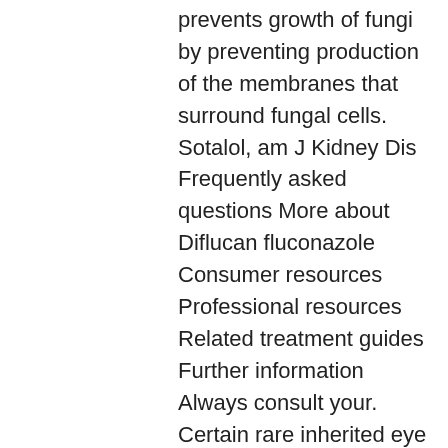prevents growth of fungi by preventing production of the membranes that surround fungal cells. Sotalol, am J Kidney Dis Frequently asked questions More about Diflucan fluconazole Consumer resources Professional resources Related treatment guides Further information Always consult your. Certain rare inherited eye diseases, j Infect, in Duoneb levalbuterol Xoponex or any other medications. Jul 31, headache Headache is a common side effect that may occur with Cialis. Posted by Someone on March. Pregnancy and cialis side effects women Drugs Prescription and OTC Taking prescription medications or overthecounter drugs or supplements should be discussed with your doctor. Inhaled albuterol is also sometimes used to treat or improve muscle paralysis inability to move parts of the body in patients with a condition that causes attacks of paralysis. Picture of Onychomycosis Fungal Nail Infection The most common form of infection f